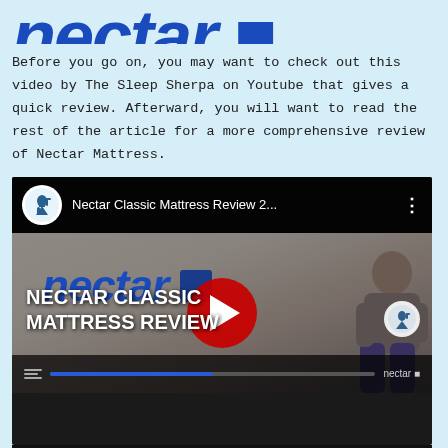[Figure (logo): Nectar logo in large bold blue italic text, partially cropped at top]
Before you go on, you may want to check out this video by The Sleep Sherpa on Youtube that gives a quick review. Afterward, you will want to read the rest of the article for a more comprehensive review of Nectar Mattress.
[Figure (screenshot): YouTube video thumbnail for 'Nectar Classic Mattress Review 2...' showing a man sitting on a Nectar mattress with the nectar logo visible and a YouTube play button overlay. Bottom text reads NECTAR CLASSIC MATTRESS REVIEW.]